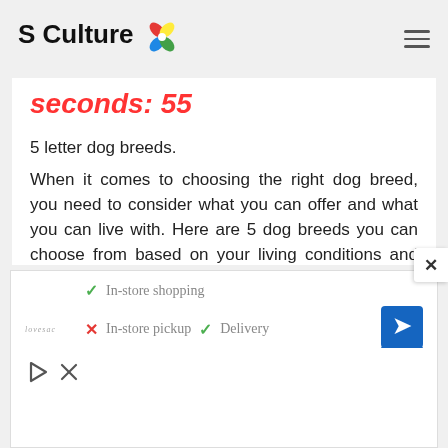S Culture
seconds: 55
5 letter dog breeds.
When it comes to choosing the right dog breed, you need to consider what you can offer and what you can live with. Here are 5 dog breeds you can choose from based on your living conditions and your capabilities:
1. The Golden Retriever
[Figure (screenshot): Advertisement banner showing Lovesac store information: checkmark In-store shopping, X In-store pickup, checkmark Delivery, with a blue navigation/direction icon and ad controls.]